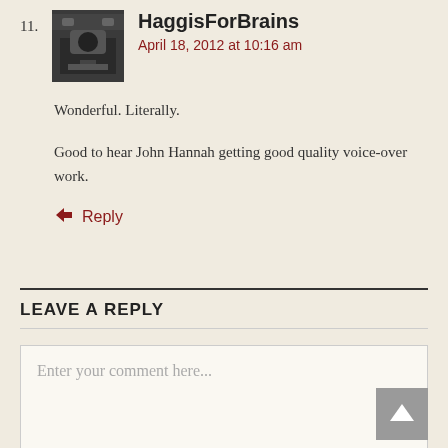11. HaggisForBrains — April 18, 2012 at 10:16 am

Wonderful. Literally.

Good to hear John Hannah getting good quality voice-over work.
Reply
LEAVE A REPLY
Enter your comment here...